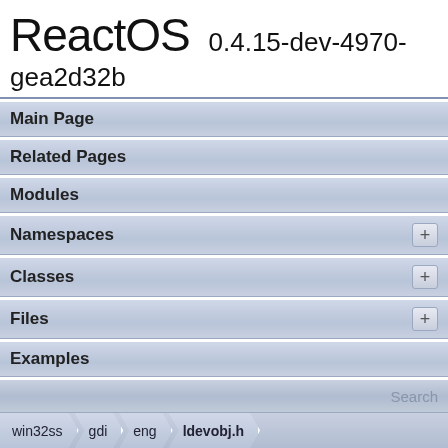ReactOS 0.4.15-dev-4970-gea2d32b
Main Page
Related Pages
Modules
Namespaces
Classes
Files
Examples
Search
Classes | Typedefs | Enumerations |
win32ss  gdi  eng  ldevobj.h